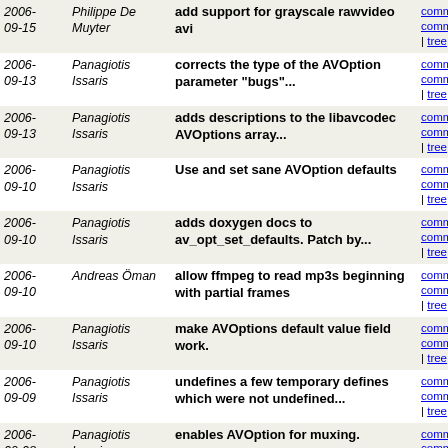| Date | Author | Message | Links |
| --- | --- | --- | --- |
| 2006-09-15 | Philippe De Muyter | add support for grayscale rawvideo avi | commit | commitdiff | tree |
| 2006-09-13 | Panagiotis Issaris | corrects the type of the AVOption parameter "bugs"... | commit | commitdiff | tree |
| 2006-09-13 | Panagiotis Issaris | adds descriptions to the libavcodec AVOptions array... | commit | commitdiff | tree |
| 2006-09-10 | Panagiotis Issaris | Use and set sane AVOption defaults | commit | commitdiff | tree |
| 2006-09-10 | Panagiotis Issaris | adds doxygen docs to av_opt_set_defaults. Patch by... | commit | commitdiff | tree |
| 2006-09-10 | Andreas Öman | allow ffmpeg to read mp3s beginning with partial frames | commit | commitdiff | tree |
| 2006-09-10 | Panagiotis Issaris | make AVOptions default value field work. | commit | commitdiff | tree |
| 2006-09-09 | Panagiotis Issaris | undefines a few temporary defines which were not undefined... | commit | commitdiff | tree |
| 2006-09-08 | Panagiotis Issaris | enables AVOption for muxing. | commit | commitdiff | tree |
| 2006-09-08 | Panagiotis Issaris | enable setting the year and track number using AVOption | commit | commitdiff | tree |
| 2006-09-08 | Panagiotis Issaris | makes avformat_get_context_defaults() static | commit | commitdiff | tree |
| 2006-09-07 | Panagiotis Issaris | Allow to get the the track number in the IPRT (part... | commit | commitdiff | tree |
| 2006-09-07 | Panagiotis Issaris | Allow to store the the track number in the IPRT... | commit | commitdiff | tree |